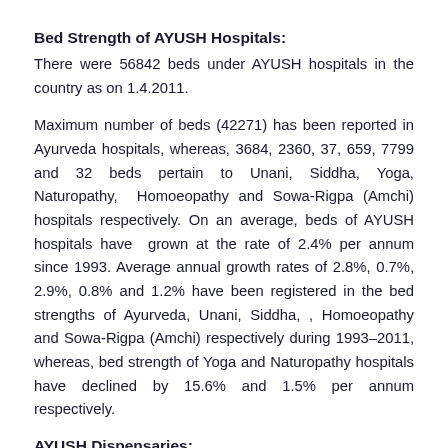Bed Strength of AYUSH Hospitals:
There were 56842 beds under AYUSH hospitals in the country as on 1.4.2011.
Maximum number of beds (42271) has been reported in Ayurveda hospitals, whereas, 3684, 2360, 37, 659, 7799 and 32 beds pertain to Unani, Siddha, Yoga, Naturopathy, Homoeopathy and Sowa-Rigpa (Amchi) hospitals respectively. On an average, beds of AYUSH hospitals have grown at the rate of 2.4% per annum since 1993. Average annual growth rates of 2.8%, 0.7%, 2.9%, 0.8% and 1.2% have been registered in the bed strengths of Ayurveda, Unani, Siddha, , Homoeopathy and Sowa-Rigpa (Amchi) respectively during 1993-2011, whereas, bed strength of Yoga and Naturopathy hospitals have declined by 15.6% and 1.5% per annum respectively.
AYUSH Dispensaries:
As on 1.4.2011, 24280 AYUSH dispensaries existed in the country. Maximum number of dispensaries (15017) have been